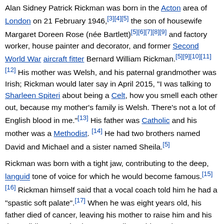Alan Sidney Patrick Rickman was born in the Acton area of London on 21 February 1946,[3][4][5] the son of housewife Margaret Doreen Rose (née Bartlett)[5][6][7][8][9] and factory worker, house painter and decorator, and former Second World War aircraft fitter Bernard William Rickman.[5][9][10][11][12] His mother was Welsh, and his paternal grandmother was Irish; Rickman would later say in April 2015, "I was talking to Sharleen Spiteri about being a Celt, how you smell each other out, because my mother's family is Welsh. There's not a lot of English blood in me."[13] His father was Catholic and his mother was a Methodist.[14] He had two brothers named David and Michael and a sister named Sheila.[5]
Rickman was born with a tight jaw, contributing to the deep, languid tone of voice for which he would become famous.[15][16] Rickman himself said that a vocal coach told him he had a "spastic soft palate".[17] When he was eight years old, his father died of cancer, leaving his mother to raise him and his three siblings mostly alone. According to biographer Maureen Paton, the family was "rehoused by the council and moved to an Acton estate to the west of Wormwood Scrubs Prison, where his mother struggled to bring up four children on her own by working for the Post Office".